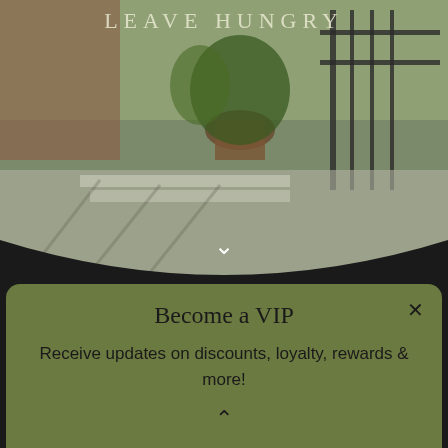[Figure (photo): Outdoor photo showing a patio or entryway with plants, iron fence/gate, stone steps, and dappled shadows. Partially visible text at top reads 'LEAVE HUNGRY' in light decorative font. A white downward chevron arrow is visible at the bottom of the image.]
Welcome to the Grove
Become a VIP
Receive updates on discounts, loyalty, rewards & more!